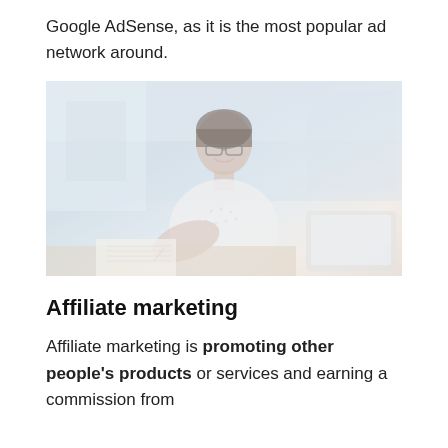Google AdSense, as it is the most popular ad network around.
[Figure (photo): A young woman with glasses smiling and writing in a notebook at a desk with a laptop, in an office or classroom setting. Image appears washed out / light-toned.]
Affiliate marketing
Affiliate marketing is promoting other people's products or services and earning a commission from